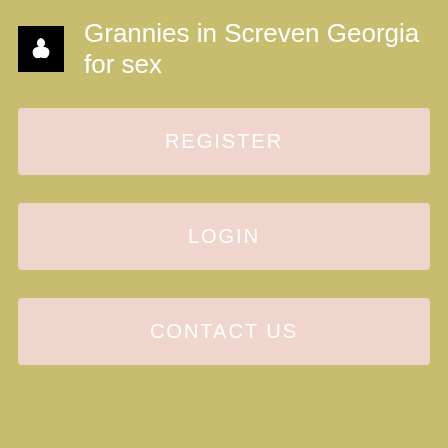Grannies in Screven Georgia for sex
REGISTER
LOGIN
CONTACT US
gym members can stay cool and comfortable. Tight workspaces, crowded floors and ceiling areas make it difficult to get cooling airflow to workers who need it.
[Figure (photo): Black rectangle image area at bottom of page]